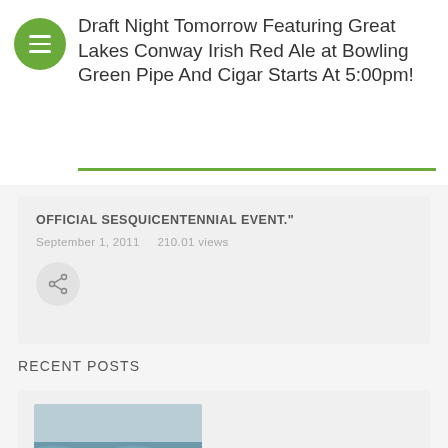Draft Night Tomorrow Featuring Great Lakes Conway Irish Red Ale at Bowling Green Pipe And Cigar Starts At 5:00pm!
OFFICIAL SESQUICENTENNIAL EVENT."
September 1, 2011   210.01 views
RECENT POSTS
[Figure (photo): Horses running on a beach with ocean waves in the background]